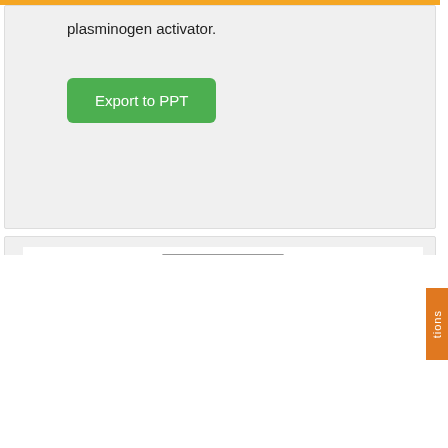plasminogen activator.
[Figure (other): Export to PPT green button]
[Figure (flowchart): Flowchart showing: Patients underwent PMA (N=20) branching into PMA resulted in extravasation (N=11; 55%) and No extravasation (N=9; 45%)]
We use cookies on our website to give you the most relevant experience by remembering your preferences and repeat visits. By clicking "Accept", you consent to the use of ALL the cookies.
Do not sell my personal information.
Cookie Settings    Accept